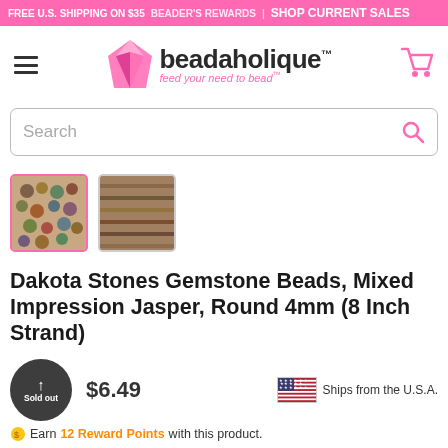FREE U.S. SHIPPING ON $35  BEADER'S REWARDS | SHOP CURRENT SALES
[Figure (logo): Beadaholique logo with diamond gem icon and tagline 'feed your need to bead']
Search
[Figure (photo): Two thumbnail images of Mixed Impression Jasper round beads strands, first thumbnail is active/selected with pink border]
Dakota Stones Gemstone Beads, Mixed Impression Jasper, Round 4mm (8 Inch Strand)
Sold out  $6.49  Ships from the U.S.A.
Earn 12 Reward Points with this product.